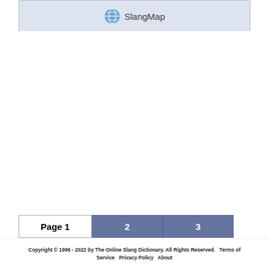[Figure (logo): SlangMap logo with globe/bird icon and text 'SlangMap' inside a light blue card]
Page 1  2  3
Copyright © 1996 - 2022 by The Online Slang Dictionary. All Rights Reserved.  Terms of Service  Privacy Policy  About